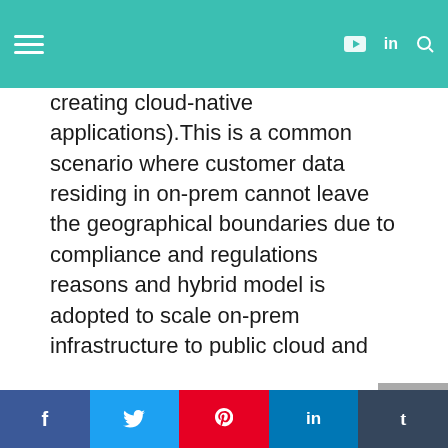[Navigation bar with hamburger menu, YouTube, LinkedIn, and search icons on teal background]
creating cloud-native applications).This is a common scenario where customer data residing in on-prem cannot leave the geographical boundaries due to compliance and regulations reasons and hybrid model is adopted to scale on-prem infrastructure to public cloud and also leverage cloud services to run non-sensitive computation tasks. Also, adopting a hybrid cloud model usually consists of a roadmap for enterprises to consolidate their on-prem infrastructure, migrate and modernize applications, reduce operational overheads and improve their deployment processes.
A cloud on the edge deployment model drive use cases where data and compute needs to be located closer to end-users. In a connected world and with 5G gaining momentum, the next generation applications would drive new set of
f  t  p  in  t